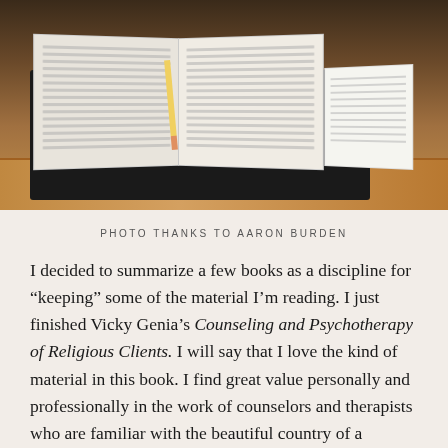[Figure (photo): An open Bible or book with a pencil resting in the spine, alongside a notebook with handwritten notes, placed on a wooden table surface.]
PHOTO THANKS TO AARON BURDEN
I decided to summarize a few books as a discipline for “keeping” some of the material I’m reading. I just finished Vicky Genia’s Counseling and Psychotherapy of Religious Clients. I will say that I love the kind of material in this book. I find great value personally and professionally in the work of counselors and therapists who are familiar with the beautiful country of a person’s soul. Genia’s book brought together her the use of deep faith development and classical